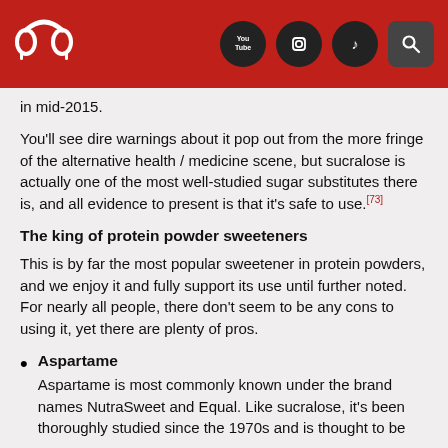Header bar with logo and social media icons (YouTube, Instagram, TikTok, Search)
in mid-2015.
You'll see dire warnings about it pop out from the more fringe of the alternative health / medicine scene, but sucralose is actually one of the most well-studied sugar substitutes there is, and all evidence to present is that it's safe to use.[73]
The king of protein powder sweeteners
This is by far the most popular sweetener in protein powders, and we enjoy it and fully support its use until further noted. For nearly all people, there don't seem to be any cons to using it, yet there are plenty of pros.
Aspartame
Aspartame is most commonly known under the brand names NutraSweet and Equal. Like sucralose, it's been thoroughly studied since the 1970s and is thought to be